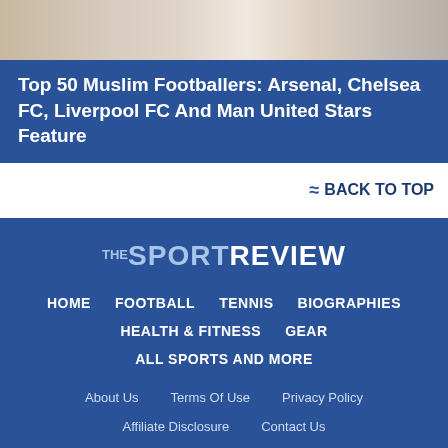[Figure (photo): Partial view of people at top of page, cropped photo strip]
Top 50 Muslim Footballers: Arsenal, Chelsea FC, Liverpool FC And Man United Stars Feature
BACK TO TOP
[Figure (logo): THE SPORT REVIEW logo in white and blue text on dark blue background]
HOME
FOOTBALL
TENNIS
BIOGRAPHIES
HEALTH & FITNESS
GEAR
ALL SPORTS AND MORE
About Us
Terms Of Use
Privacy Policy
Affiliate Disclosure
Contact Us
Cookie Options